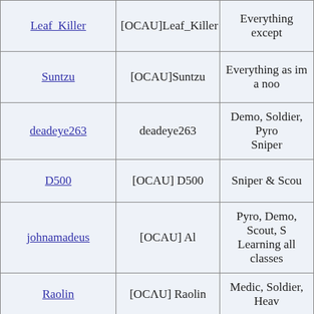| Username | In-game name | Classes |
| --- | --- | --- |
| Leaf_Killer | [OCAU]Leaf_Killer | Everything except |
| Suntzu | [OCAU]Suntzu | Everything as im a noo |
| deadeye263 | deadeye263 | Demo, Soldier, Pyro, Sniper |
| D500 | [OCAU] D500 | Sniper & Scou |
| johnamadeus | [OCAU] Al | Pyro, Demo, Scout, S Learning all classes |
| Raolin | [OCAU] Raolin | Medic, Soldier, Heav |
| Cronium | [OCAU] Industrious Thoughts | Medic, Pyro, Sol |
| redw0lf | [OCAU] Phaded | Soldier, Pyro, Heavy, |
| brodiepearce | [OCAU]brodsta | Soldier, Scout, Eng |
|  |  |  |